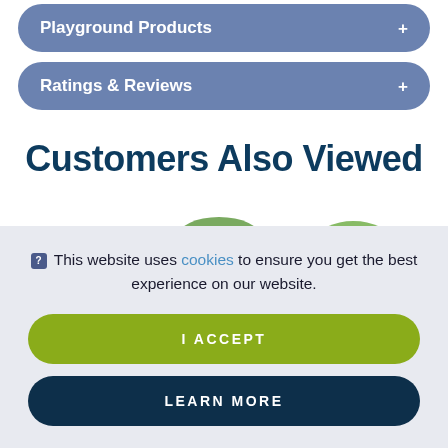Playground Products +
Ratings & Reviews +
Customers Also Viewed
This website uses cookies to ensure you get the best experience on our website.
I ACCEPT
LEARN MORE